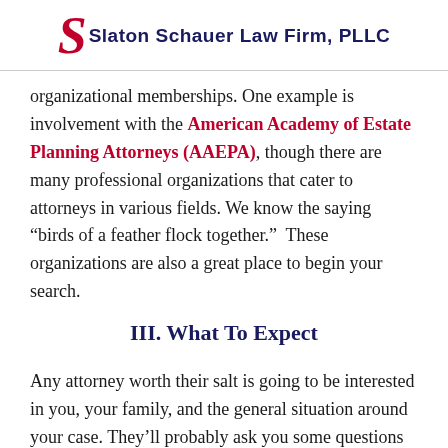Slaton Schauer Law Firm, PLLC
organizational memberships. One example is involvement with the American Academy of Estate Planning Attorneys (AAEPA), though there are many professional organizations that cater to attorneys in various fields. We know the saying “birds of a feather flock together.”  These organizations are also a great place to begin your search.
III. What To Expect
Any attorney worth their salt is going to be interested in you, your family, and the general situation around your case. They’ll probably ask you some questions to get to know you a bit; your